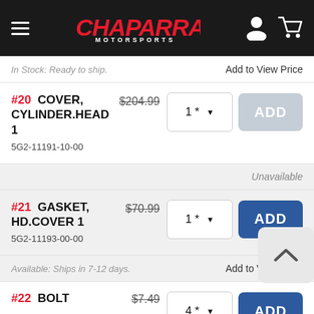Chaparral Motorsports
In Stock: Ready to ship.     Add to View Price
#20  COVER, CYLINDER.HEAD 1  $204.99  5G2-11191-10-00
Unavailable
#21  GASKET, HD.COVER 1  $70.99  5G2-11193-00-00
Available: Ships in 7-12 days.     Add to View Price
#22  BOLT  $7.49